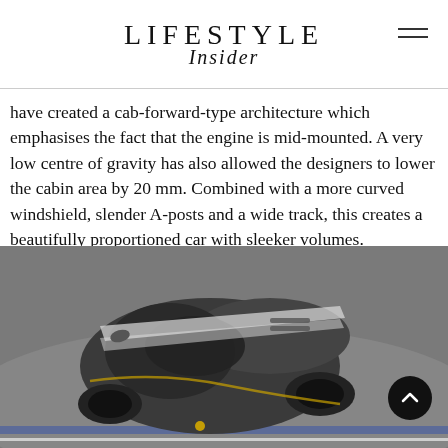LIFESTYLE Insider
have created a cab-forward-type architecture which emphasises the fact that the engine is mid-mounted. A very low centre of gravity has also allowed the designers to lower the cabin area by 20 mm. Combined with a more curved windshield, slender A-posts and a wide track, this creates a beautifully proportioned car with sleeker volumes.
[Figure (photo): Aerial view of a dark grey Ferrari sports car on a race track, seen from above and slightly behind, showing the sleek roofline and body stripes.]